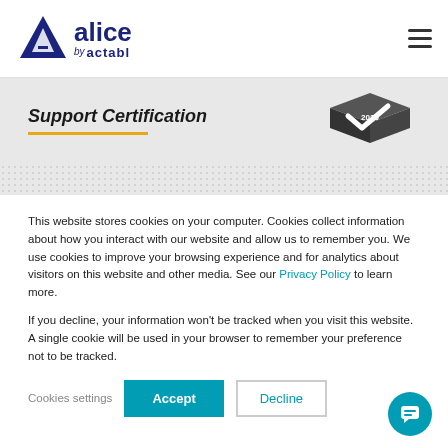[Figure (logo): Alice by actabl logo — triangular A icon with 'alice' in dark blue and 'by actabl' subtitle]
[Figure (illustration): Support Certification banner with '2020' 3D badge graphic and dotted background pattern]
This website stores cookies on your computer. Cookies collect information about how you interact with our website and allow us to remember you. We use cookies to improve your browsing experience and for analytics about visitors on this website and other media. See our Privacy Policy to learn more.
If you decline, your information won't be tracked when you visit this website. A single cookie will be used in your browser to remember your preference not to be tracked.
Cookies settings  Accept  Decline